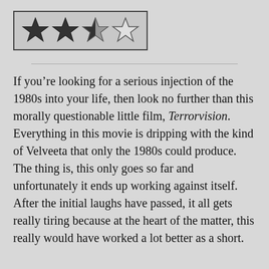[Figure (other): Star rating graphic showing 2.5 out of 4 stars: two filled dark stars, one half-filled star, one outlined empty star, inside a bordered box]
If you’re looking for a serious injection of the 1980s into your life, then look no further than this morally questionable little film, Terrorvision. Everything in this movie is dripping with the kind of Velveeta that only the 1980s could produce. The thing is, this only goes so far and unfortunately it ends up working against itself. After the initial laughs have passed, it all gets really tiring because at the heart of the matter, this really would have worked a lot better as a short.